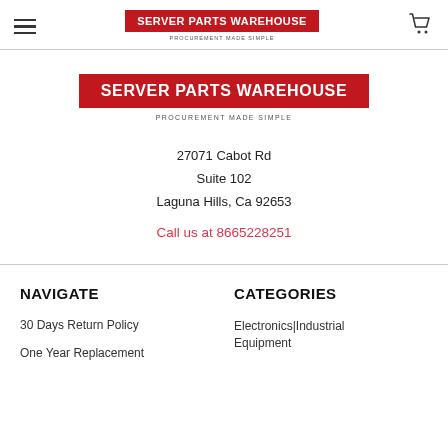SERVER PARTS WAREHOUSE - PROCUREMENT MADE SIMPLE
[Figure (logo): Server Parts Warehouse logo - red background with white bold text, tagline PROCUREMENT MADE SIMPLE]
27071 Cabot Rd
Suite 102
Laguna Hills, Ca 92653
Call us at 8665228251
NAVIGATE
CATEGORIES
30 Days Return Policy
One Year Replacement
Electronics|Industrial Equipment